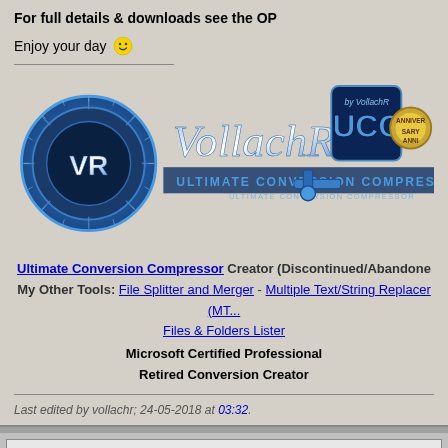For full details & downloads see the OP
Enjoy your day 🙂
[Figure (logo): VollachR Ultimate Conversion Compressor logo with VR circular emblem, stylized text 'VollachR', UCC badge, and anniversary medal]
Ultimate Conversion Compressor Creator (Discontinued/Abandoned)
My Other Tools: File Splitter and Merger - Multiple Text/String Replacer (MT...
Files & Folders Lister
Microsoft Certified Professional
Retired Conversion Creator
Last edited by vollachr; 24-05-2018 at 03:32.
The Following User Says Thank You to vollachr For This Useful Post:
pakrat2k2 (24-05-2018)
25-05-2018, 02:51
Join Date: Sep 20
Location: Israel
Posts: 247